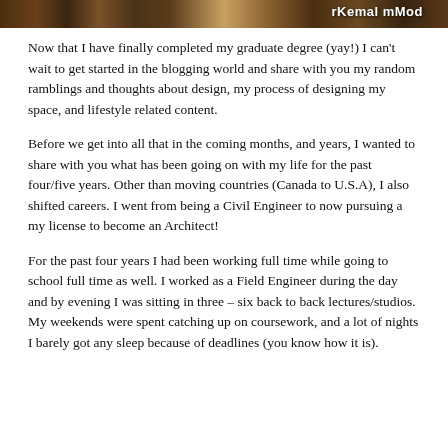[Figure (photo): Partial image strip at top showing a dark/brown background with text 'rKemal mMod...' partially visible]
Now that I have finally completed my graduate degree (yay!) I can't wait to get started in the blogging world and share with you my random ramblings and thoughts about design, my process of designing my space, and lifestyle related content.
Before we get into all that in the coming months, and years, I wanted to share with you what has been going on with my life for the past four/five years. Other than moving countries (Canada to U.S.A), I also shifted careers. I went from being a Civil Engineer to now pursuing a my license to become an Architect!
For the past four years I had been working full time while going to school full time as well. I worked as a Field Engineer during the day and by evening I was sitting in three – six back to back lectures/studios. My weekends were spent catching up on coursework, and a lot of nights I barely got any sleep because of deadlines (you know how it is).